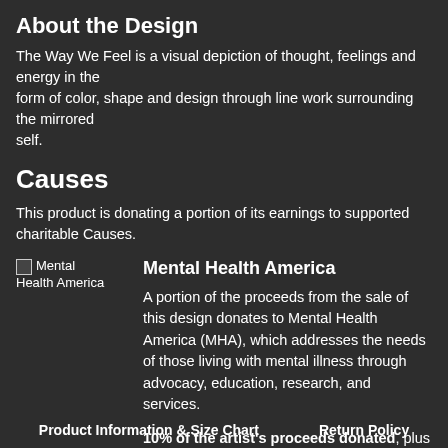About the Design
The Way We Feel is a visual depiction of thought, feelings and energy in the form of color, shape and design through line work surrounding the mirrored self.
Causes
This product is donating a portion of its earnings to supported charitable Causes.
[Figure (logo): Mental Health America logo placeholder image]
Mental Health America
A portion of the proceeds from the sale of this design donates to Mental Health America (MHA), which addresses the needs of those living with mental illness through advocacy, education, research, and services.
10% of the artist's proceeds donated, plus an additional donation from Threadless.
Product Information & Size Chart    Return Policy